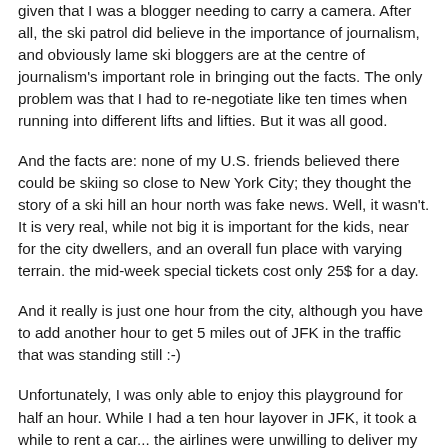given that I was a blogger needing to carry a camera. After all, the ski patrol did believe in the importance of journalism, and obviously lame ski bloggers are at the centre of journalism's important role in bringing out the facts. The only problem was that I had to re-negotiate like ten times when running into different lifts and lifties. But it was all good.
And the facts are: none of my U.S. friends believed there could be skiing so close to New York City; they thought the story of a ski hill an hour north was fake news. Well, it wasn't. It is very real, while not big it is important for the kids, near for the city dwellers, and an overall fun place with varying terrain. the mid-week special tickets cost only 25$ for a day.
And it really is just one hour from the city, although you have to add another hour to get 5 miles out of JFK in the traffic that was standing still :-)
Unfortunately, I was only able to enjoy this playground for half an hour. While I had a ten hour layover in JFK, it took a while to rent a car... the airlines were unwilling to deliver my